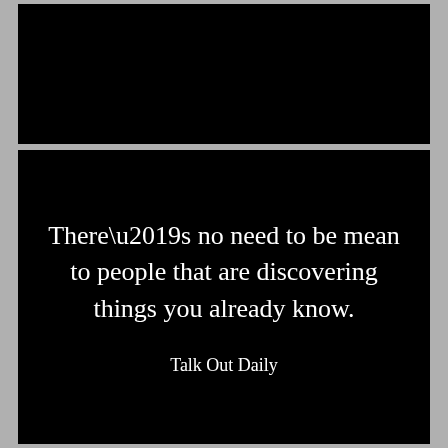[Figure (other): Black rectangular bar at the top of the image]
There’s no need to be mean to people that are discovering things you already know.
Talk Out Daily